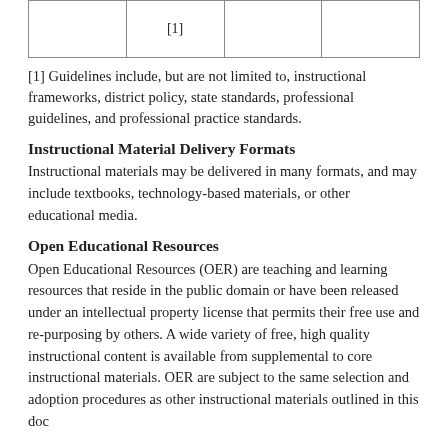|  | [1] |  |  |
[1] Guidelines include, but are not limited to, instructional frameworks, district policy, state standards, professional guidelines, and professional practice standards.
Instructional Material Delivery Formats
Instructional materials may be delivered in many formats, and may include textbooks, technology-based materials, or other educational media.
Open Educational Resources
Open Educational Resources (OER) are teaching and learning resources that reside in the public domain or have been released under an intellectual property license that permits their free use and re-purposing by others. A wide variety of free, high quality instructional content is available from supplemental to core instructional materials. OER are subject to the same selection and adoption procedures as other instructional materials outlined in this doc